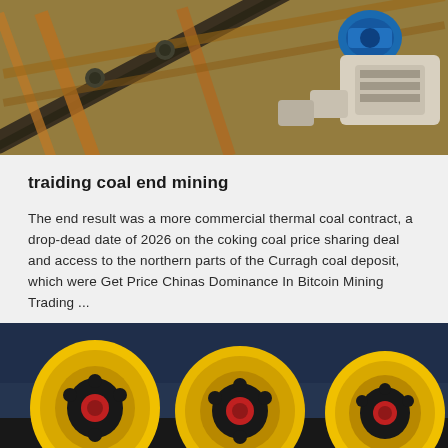[Figure (photo): Industrial coal mining equipment — conveyor belts and crushing machinery with orange steel framework and blue electric motors inside a factory setting]
traiding coal end mining
The end result was a more commercial thermal coal contract, a drop-dead date of 2026 on the coking coal price sharing deal and access to the northern parts of the Curragh coal deposit, which were Get Price Chinas Dominance In Bitcoin Mining Trading ...
[Figure (photo): Large yellow industrial cable drums or reels inside a factory with blue-lit background]